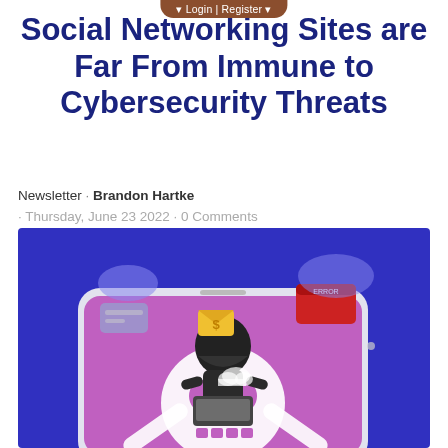Login | Register
Social Networking Sites are Far From Immune to Cybersecurity Threats
Newsletter · Brandon Hartke · Thursday, June 23 2022 · 0 Comments
[Figure (illustration): Isometric illustration of a hooded hacker sitting on a large smartphone. The phone screen shows a skull-and-crossbones design in purple/pink. Around the hacker float icons: a credit card, a money envelope, a red warning browser window, and cloud icons. The background is deep blue/purple.]